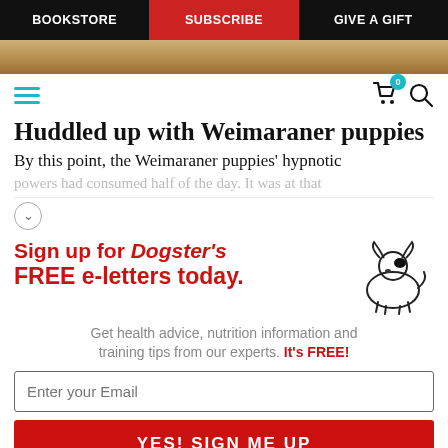BOOKSTORE | SUBSCRIBE | GIVE A GIFT
[Figure (photo): Partial view of Weimaraner puppies, warm golden-brown fur visible as a strip]
[Figure (screenshot): Website icon bar with teal hamburger menu on left, cart icon with badge showing 0 and search icon on right]
Huddled up with Weimaraner puppies
By this point, the Weimaraner puppies' hypnotic
powers had consumed half of the day. It was at that
[Figure (illustration): Dogster newsletter signup advertisement with cartoon dog illustration. 'Sign up for Dogster's FREE e-letters today.' Get health advice, nutrition information and training tips from our experts. It's FREE! Email input field and YES! SIGN ME UP button.]